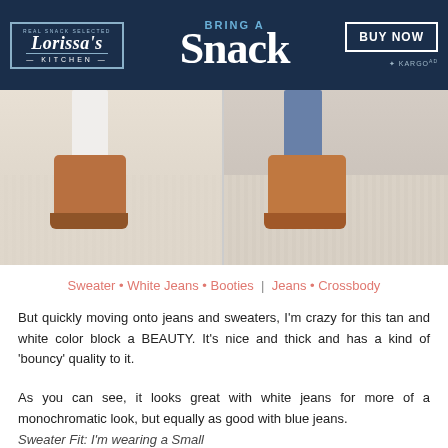[Figure (photo): Advertisement banner for Lorissa's Kitchen with dark navy background showing 'BRING A Snack' text and BUY NOW button]
[Figure (photo): Side-by-side photos showing two outfits: left side white jeans with tan ankle booties, right side blue jeans with tan ankle booties, both standing on a woven rug]
Sweater • White Jeans • Booties  |  Jeans • Crossbody
But quickly moving onto jeans and sweaters, I'm crazy for this tan and white color block a BEAUTY. It's nice and thick and has a kind of 'bouncy' quality to it.
As you can see, it looks great with white jeans for more of a monochromatic look, but equally as good with blue jeans.
Sweater Fit: I'm wearing a Small